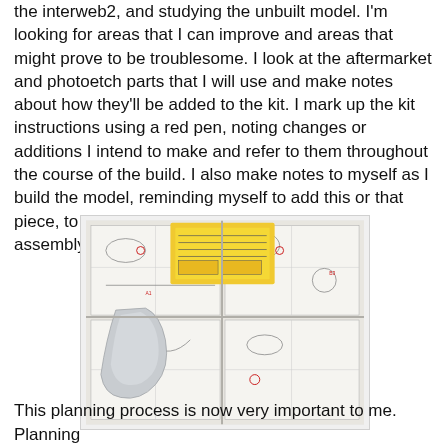the interweb2, and studying the unbuilt model. I'm looking for areas that I can improve and areas that might prove to be troublesome. I look at the aftermarket and photoetch parts that I will use and make notes about how they'll be added to the kit. I mark up the kit instructions using a red pen, noting changes or additions I intend to make and refer to them throughout the course of the build. I also make notes to myself as I build the model, reminding myself to add this or that piece, to scribe a new panel line after fuselage assembly, etc.
[Figure (photo): Photo of model kit instruction sheets spread out on a surface, with red pen markings/annotations visible on the sheets. A yellow reference card and a light grey plastic model part are also visible on top of the instructions.]
This planning process is now very important to me. Planning